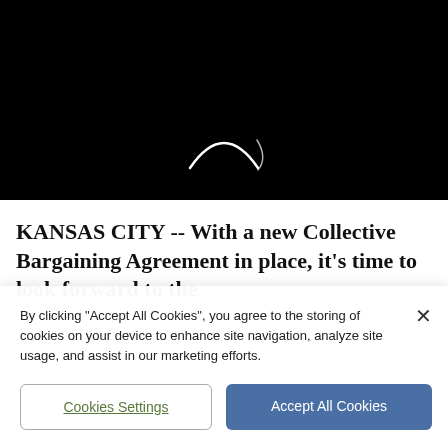[Figure (photo): Black background photo showing a crescent/sliver of white light (eclipse or crescent moon) at the center-bottom of the dark image.]
KANSAS CITY -- With a new Collective Bargaining Agreement in place, it's time to look forward to the
By clicking "Accept All Cookies", you agree to the storing of cookies on your device to enhance site navigation, analyze site usage, and assist in our marketing efforts.
Cookies Settings
Accept All Cookies